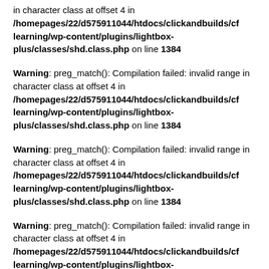in character class at offset 4 in /homepages/22/d575911044/htdocs/clickandbuilds/cflearning/wp-content/plugins/lightbox-plus/classes/shd.class.php on line 1384
Warning: preg_match(): Compilation failed: invalid range in character class at offset 4 in /homepages/22/d575911044/htdocs/clickandbuilds/cflearning/wp-content/plugins/lightbox-plus/classes/shd.class.php on line 1384
Warning: preg_match(): Compilation failed: invalid range in character class at offset 4 in /homepages/22/d575911044/htdocs/clickandbuilds/cflearning/wp-content/plugins/lightbox-plus/classes/shd.class.php on line 1384
Warning: preg_match(): Compilation failed: invalid range in character class at offset 4 in /homepages/22/d575911044/htdocs/clickandbuilds/cflearning/wp-content/plugins/lightbox-plus/classes/shd.class.php on line 1384